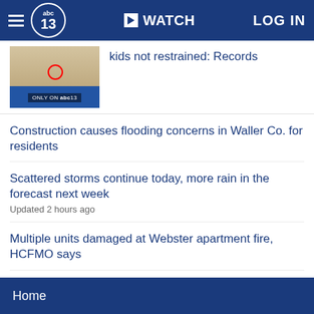abc13 | WATCH | LOG IN
[Figure (screenshot): Partial news story thumbnail with 'ONLY ON abc13' badge]
kids not restrained: Records
Construction causes flooding concerns in Waller Co. for residents
Scattered storms continue today, more rain in the forecast next week
Updated 2 hours ago
Multiple units damaged at Webster apartment fire, HCFMO says
Silver alert issued for 59-year-old man last seen in Humble
Updated 3 minutes ago
SHOW MORE ▼
Home